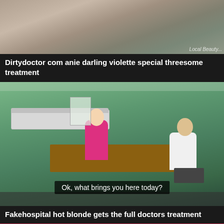[Figure (screenshot): Top thumbnail image of a medical room scene, partially visible, with a small watermark text in bottom-right corner]
Dirtydoctor com anie darling violette special threesome treatment
[Figure (screenshot): Doctor's office scene with green walls, a blonde woman in pink jacket sitting across a desk from a male doctor in white coat. Subtitle reads: Ok, what brings you here today?]
Fakehospital hot blonde gets the full doctors treatment
[Figure (photo): Extreme close-up of lips with bright pink/red lipstick and visible teeth]